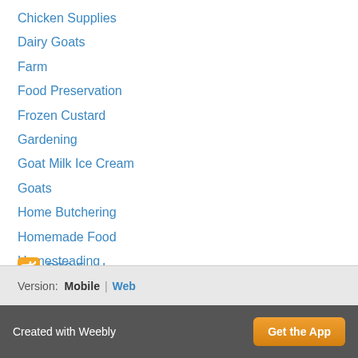Chicken Supplies
Dairy Goats
Farm
Food Preservation
Frozen Custard
Gardening
Goat Milk Ice Cream
Goats
Home Butchering
Homemade Food
Homesteading
Raising Chickens For Meat
Using Milk Classes
Vanilla
RSS Feed
Version: Mobile | Web
Created with Weebly  Get the App